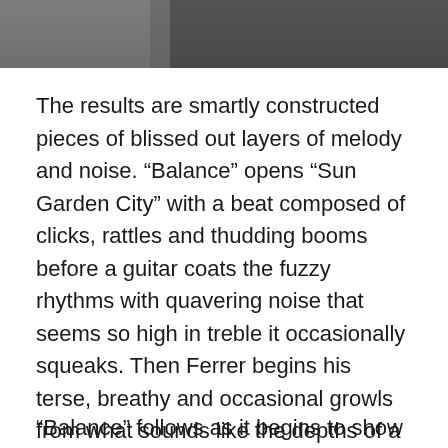[Figure (photo): Partial photo at top of page, blurred/cropped image showing dark background with indistinct subject]
The results are smartly constructed pieces of blissed out layers of melody and noise. “Balance” opens “Sun Garden City” with a beat composed of clicks, rattles and thudding booms before a guitar coats the fuzzy rhythms with quavering noise that seems so high in treble it occasionally squeaks. Then Ferrer begins his terse, breathy and occasional growls from what sounds like the depths of a well. It’s all tinny, catchy rhythmic din until the beats halt to highlight the quavering guitars and Ferrer repeats “untie me” over and over, as if on over-lapping loops. An inspired wash of soft, synthesized drone or hum glistens over the final seconds of the track, bringing it to another level.
“Balance” follows as it begins to show a pattern